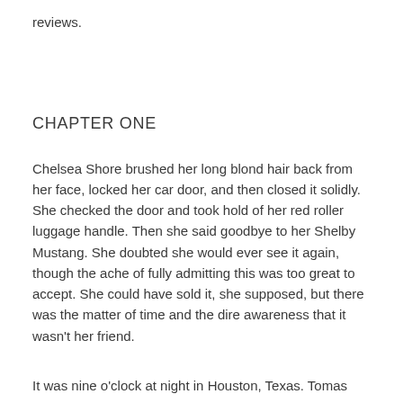reviews.
CHAPTER ONE
Chelsea Shore brushed her long blond hair back from her face, locked her car door, and then closed it solidly. She checked the door and took hold of her red roller luggage handle. Then she said goodbye to her Shelby Mustang. She doubted she would ever see it again, though the ache of fully admitting this was too great to accept. She could have sold it, she supposed, but there was the matter of time and the dire awareness that it wasn't her friend.
It was nine o'clock at night in Houston, Texas. Tomas